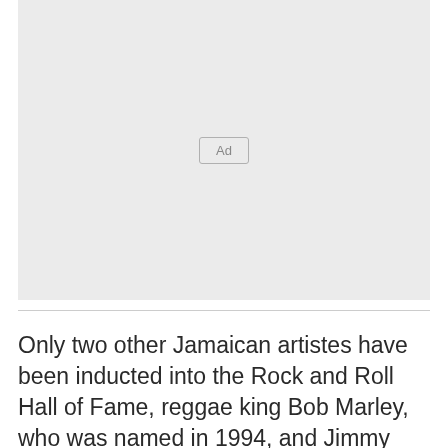[Figure (other): Advertisement placeholder box with 'Ad' label in center]
Only two other Jamaican artistes have been inducted into the Rock and Roll Hall of Fame, reggae king Bob Marley, who was named in 1994, and Jimmy Cliff who was added in